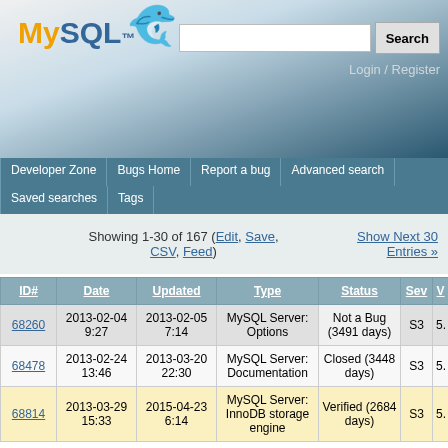MySQL — Search bar — Login / Register
Developer Zone | Bugs Home | Report a bug | Advanced search | Saved searches | Tags
Showing 1-30 of 167 (Edit, Save, CSV, Feed) — Show Next 30 Entries »
| ID# | Date | Updated | Type | Status | Sev | V |
| --- | --- | --- | --- | --- | --- | --- |
| 68260 | 2013-02-04 9:27 | 2013-02-05 7:14 | MySQL Server: Options | Not a Bug (3491 days) | S3 | 5. |
| 68478 | 2013-02-24 13:46 | 2013-03-20 22:30 | MySQL Server: Documentation | Closed (3448 days) | S3 | 5. |
| 68814 | 2013-03-29 15:33 | 2015-04-23 6:14 | MySQL Server: InnoDB storage engine | Verified (2684 days) | S3 | 5. |